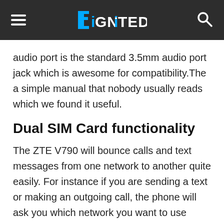DiGNiTED
audio port is the standard 3.5mm audio port jack which is awesome for compatibility.The a simple manual that nobody usually reads which we found it useful.
Dual SIM Card functionality
The ZTE V790 will bounce calls and text messages from one network to another quite easily. For instance if you are sending a text or making an outgoing call, the phone will ask you which network you want to use before performing the requested action — the same way that feature phones have been doing it. When it comes to data, however, the phone will allow you to use 3G/WCDMA only one network(the default which is orange) while maintaining the other network on GSM-